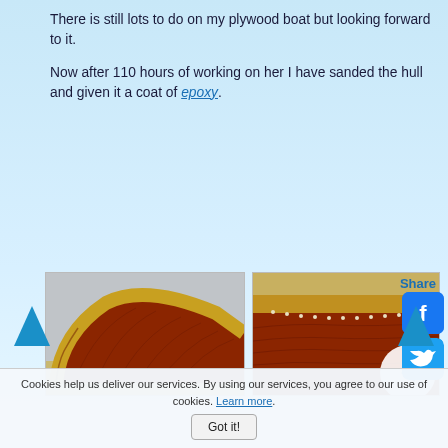There is still lots to do on my plywood boat but looking forward to it.
Now after 110 hours of working on her I have sanded the hull and given it a coat of epoxy.
[Figure (photo): Photo of plywood boat hull coated with reddish-brown epoxy, showing a pointed bow and yellowish top edge, in a workshop setting.]
[Figure (photo): Close-up photo of plywood boat hull showing reddish-brown epoxy coating with stitched seam along the top edge.]
Share
[Figure (logo): Facebook share button icon]
[Figure (logo): Twitter share button icon]
Cookies help us deliver our services. By using our services, you agree to our use of cookies. Learn more.
Got it!